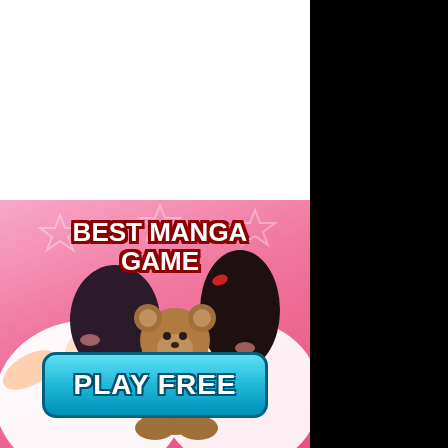[Figure (illustration): Manga-style advertisement banner. Top half is white space. Bottom half has a pink gradient background with star decorations. Shows an anime/manga style girl with dark hair and hair accessory, holding a teddy bear. Text overlay reads 'BEST MANGA GAME' in white bold letters with dark red outline. A cyan/teal rounded button at the bottom reads 'PLAY FREE' in white bold letters.]